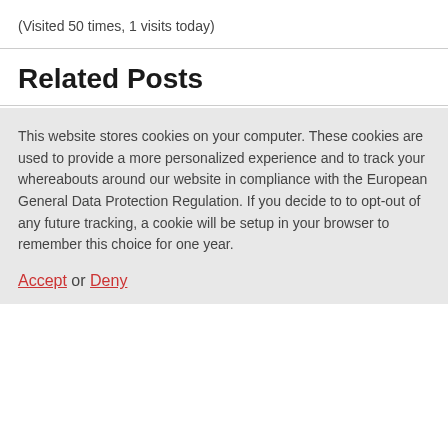(Visited 50 times, 1 visits today)
Related Posts
This website stores cookies on your computer. These cookies are used to provide a more personalized experience and to track your whereabouts around our website in compliance with the European General Data Protection Regulation. If you decide to to opt-out of any future tracking, a cookie will be setup in your browser to remember this choice for one year.
Accept or Deny